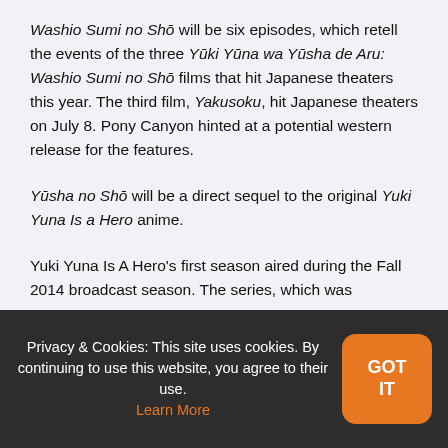Washio Sumi no Shō will be six episodes, which retell the events of the three Yūki Yūna wa Yūsha de Aru: Washio Sumi no Shō films that hit Japanese theaters this year. The third film, Yakusoku, hit Japanese theaters on July 8. Pony Canyon hinted at a potential western release for the features.
Yūsha no Shō will be a direct sequel to the original Yuki Yuna Is a Hero anime.
Yuki Yuna Is A Hero's first season aired during the Fall 2014 broadcast season. The series, which was
Privacy & Cookies: This site uses cookies. By continuing to use this website, you agree to their use. Learn More